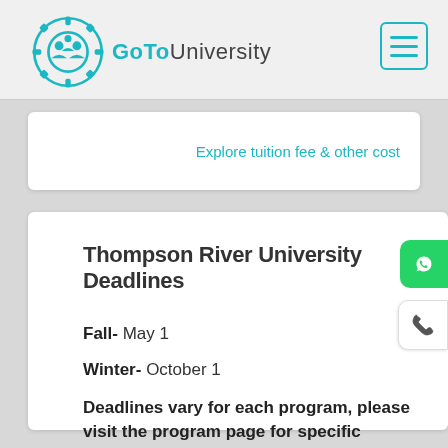GoTo University
Explore tuition fee & other cost
Thompson River University Deadlines
Fall- May 1
Winter- October 1
Deadlines vary for each program, please visit the program page for specific deadlines.
Read more about application deadlines